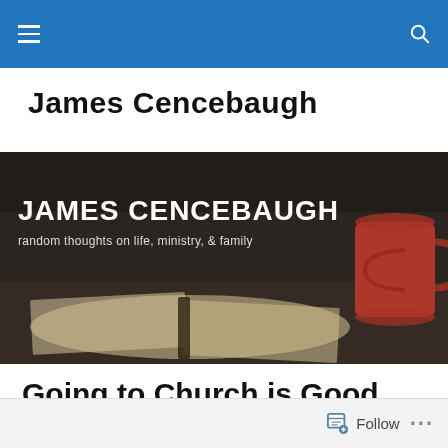Navigation bar with hamburger menu and search icon
James Cencebaugh
[Figure (photo): Blog header banner image showing an open Bible and a red coffee mug on a dark wooden table, with white text overlay reading 'JAMES CENCEBAUGH' and subtitle 'random thoughts on life, ministry, & family']
Going to Church is Good for Your Health!
Follow ...